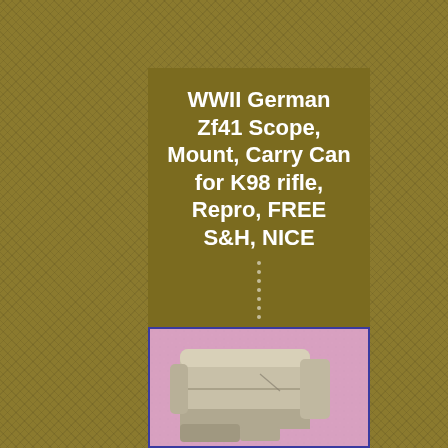WWII German Zf41 Scope, Mount, Carry Can for K98 rifle, Repro, FREE S&H, NICE
[Figure (photo): Photo of a tan/beige metal carry can or scope component placed on a pink background, with a blue border around the image.]